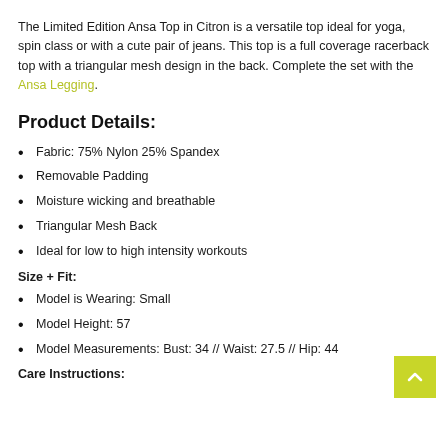The Limited Edition Ansa Top in Citron is a versatile top ideal for yoga, spin class or with a cute pair of jeans. This top is a full coverage racerback top with a triangular mesh design in the back. Complete the set with the Ansa Legging.
Product Details:
Fabric: 75% Nylon 25% Spandex
Removable Padding
Moisture wicking and breathable
Triangular Mesh Back
Ideal for low to high intensity workouts
Size + Fit:
Model is Wearing: Small
Model Height: 57
Model Measurements: Bust: 34 // Waist: 27.5 // Hip: 44
Care Instructions: